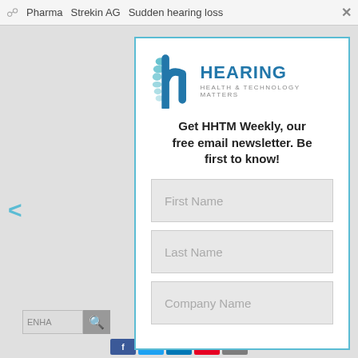Pharma   Strekin AG   Sudden hearing loss   ×
[Figure (logo): HEARING Health & Technology Matters logo with teal and blue stylized 'h' icon]
Get HHTM Weekly, our free email newsletter. Be first to know!
First Name
Last Name
Company Name